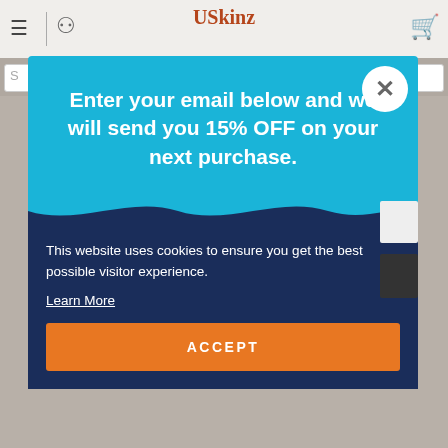[Figure (screenshot): USkinz website header with logo, hamburger menu icon, user icon, and shopping cart icon on a light background]
Enter your email below and we will send you 15% OFF on your next purchase.
This website uses cookies to ensure you get the best possible visitor experience.
Learn More
ACCEPT